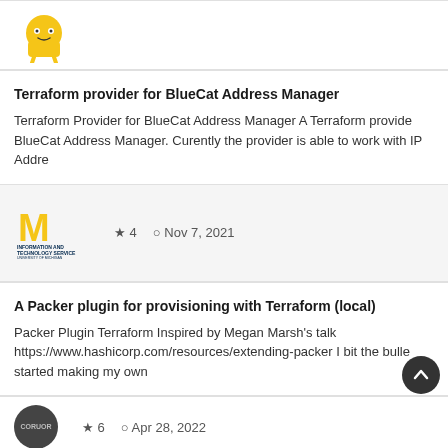[Figure (logo): Yellow cartoon dog/robot mascot icon, partial view at top]
Terraform provider for BlueCat Address Manager
Terraform Provider for BlueCat Address Manager A Terraform provider for BlueCat Address Manager. Curently the provider is able to work with IP Addre
[Figure (logo): University of Michigan Information and Technology Service logo — gold block M with blue text below]
★ 4   🕐 Nov 7, 2021
A Packer plugin for provisioning with Terraform (local)
Packer Plugin Terraform Inspired by Megan Marsh's talk https://www.hashicorp.com/resources/extending-packer I bit the bullet and started making my own
[Figure (logo): Dark circular avatar, partial view at bottom]
★ 6   🕐 Apr 28, 2022